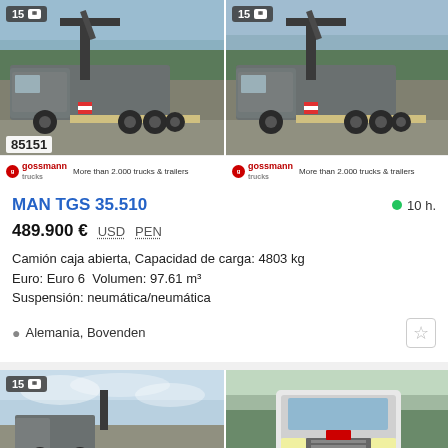[Figure (photo): Two MAN TGS 35.510 trucks with crane/flatbed, dealer photos from Gossmann Trucks. Left image shows ID 85151, both with '15' photo badge. Gossmann Trucks logo and 'More than 2.000 trucks & trailers' text at bottom of each image.]
MAN TGS 35.510
10 h.
489.900 € USD PEN
Camión caja abierta, Capacidad de carga: 4803 kg
Euro: Euro 6  Volumen: 97.61 m³
Suspensión: neumática/neumática
Alemania, Bovenden
[Figure (photo): Two trucks at bottom: left shows a truck with crane against cloudy sky (badge '15'), right shows a white MAN truck cab front view against green background.]